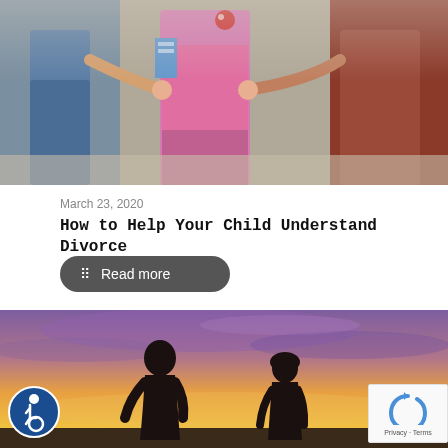[Figure (photo): Child in pink shirt holding hands with two adults on each side, outdoors]
March 23, 2020
How to Help Your Child Understand Divorce
Read more
[Figure (photo): Silhouette of two people walking apart at sunset with purple and orange sky]